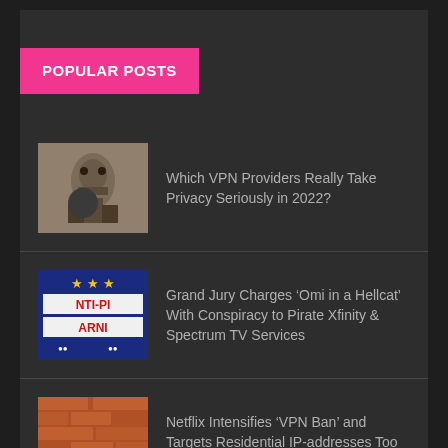POPULAR POSTS
Which VPN Providers Really Take Privacy Seriously in 2022?
Grand Jury Charges ‘Omi in a Hellcat’ With Conspiracy to Pirate Xfinity & Spectrum TV Services
Netflix Intensifies ‘VPN Ban’ and Targets Residential IP-addresses Too (Updated)
SPARKS Piracy Busts: Facts, Rumors & Fear Point to Something Huge